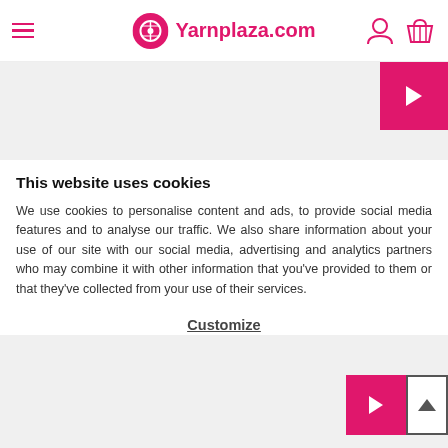Yarnplaza.com
[Figure (screenshot): Top navigation slider gray bar with pink arrow button on the right]
This website uses cookies
We use cookies to personalise content and ads, to provide social media features and to analyse our traffic. We also share information about your use of our site with our social media, advertising and analytics partners who may combine it with other information that you've provided to them or that they've collected from your use of their services.
Customize
Allow all
[Figure (screenshot): Bottom slider gray bar with pink arrow button and scroll-to-top button]